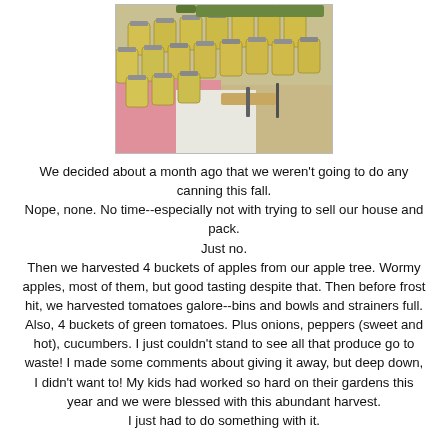[Figure (photo): Photo of many canning jars filled with yellow/golden preserved food (likely applesauce) arranged on a kitchen counter with pink and white cutting mats and knives visible.]
We decided about a month ago that we weren't going to do any canning this fall.
Nope, none. No time--especially not with trying to sell our house and pack.
Just no.
Then we harvested 4 buckets of apples from our apple tree. Wormy apples, most of them, but good tasting despite that. Then before frost hit, we harvested tomatoes galore--bins and bowls and strainers full. Also, 4 buckets of green tomatoes. Plus onions, peppers (sweet and hot), cucumbers. I just couldn't stand to see all that produce go to waste! I made some comments about giving it away, but deep down, I didn't want to! My kids had worked so hard on their gardens this year and we were blessed with this abundant harvest.
I just had to do something with it.